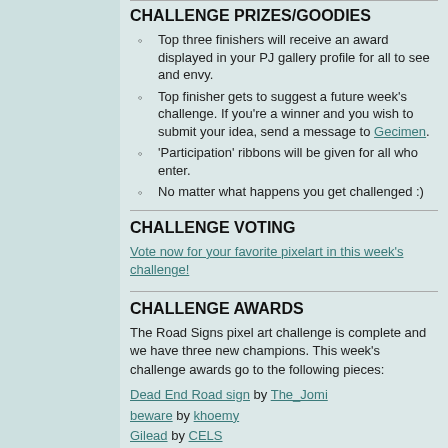CHALLENGE PRIZES/GOODIES
Top three finishers will receive an award displayed in your PJ gallery profile for all to see and envy.
Top finisher gets to suggest a future week's challenge. If you're a winner and you wish to submit your idea, send a message to Gecimen.
'Participation' ribbons will be given for all who enter.
No matter what happens you get challenged :)
CHALLENGE VOTING
Vote now for your favorite pixelart in this week's challenge!
CHALLENGE AWARDS
The Road Signs pixel art challenge is complete and we have three new champions. This week's challenge awards go to the following pieces:
Dead End Road sign by The_Jomi
beware by khoemy
Gilead by CELS